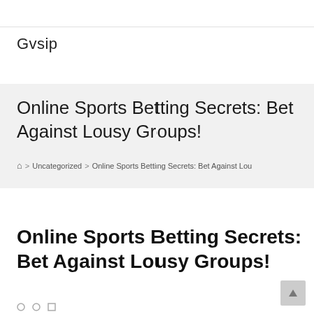Gvsip
Online Sports Betting Secrets: Bet Against Lousy Groups!
⌂ > Uncategorized > Online Sports Betting Secrets: Bet Against Lou
Online Sports Betting Secrets: Bet Against Lousy Groups!